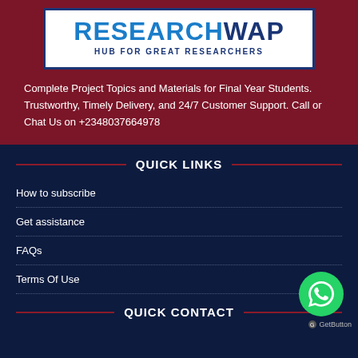[Figure (logo): ResearchWap logo with blue text on white background, subtitle 'HUB FOR GREAT RESEARCHERS']
Complete Project Topics and Materials for Final Year Students. Trustworthy, Timely Delivery, and 24/7 Customer Support. Call or Chat Us on +2348037664978
QUICK LINKS
How to subscribe
Get assistance
FAQs
Terms Of Use
QUICK CONTACT
[Figure (logo): WhatsApp green circle button with phone icon]
GetButton